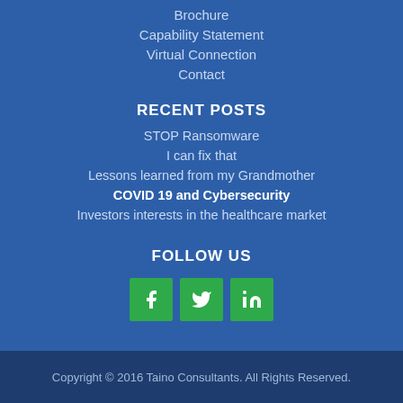Brochure
Capability Statement
Virtual Connection
Contact
RECENT POSTS
STOP Ransomware
I can fix that
Lessons learned from my Grandmother
COVID 19 and Cybersecurity
Investors interests in the healthcare market
FOLLOW US
[Figure (infographic): Three green social media icons: Facebook (f), Twitter (bird), LinkedIn (in)]
Copyright © 2016 Taino Consultants. All Rights Reserved.